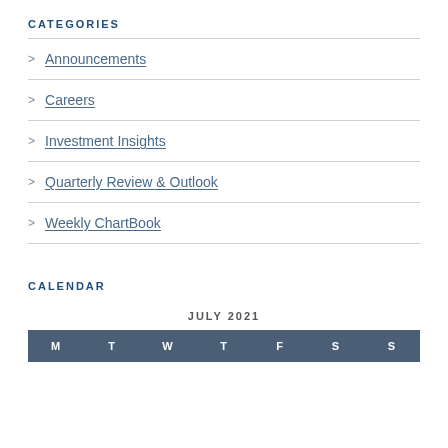CATEGORIES
Announcements
Careers
Investment Insights
Quarterly Review & Outlook
Weekly ChartBook
CALENDAR
| M | T | W | T | F | S | S |
| --- | --- | --- | --- | --- | --- | --- |